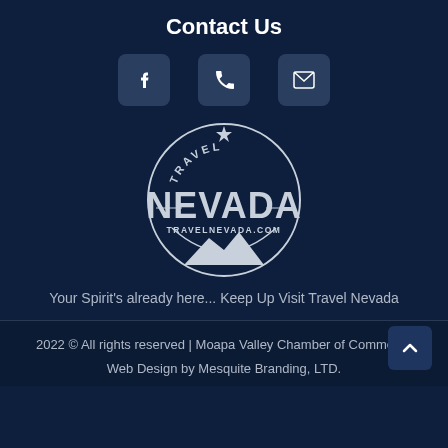Contact Us
[Figure (infographic): Three icon buttons in rounded square boxes: Facebook (f), Phone (handset), Email (envelope)]
[Figure (logo): Travel Nevada circular logo with text TRAVEL at top, NEVADA large in center, TRAVELNEVADA.COM below, mountain silhouette at bottom, compass star at top, all in white on dark navy background]
Your Spirit's already here... Keep Up Visit Travel Nevada
2022 © All rights reserved | Moapa Valley Chamber of Commerce
Web Design by Mesquite Branding, LTD.